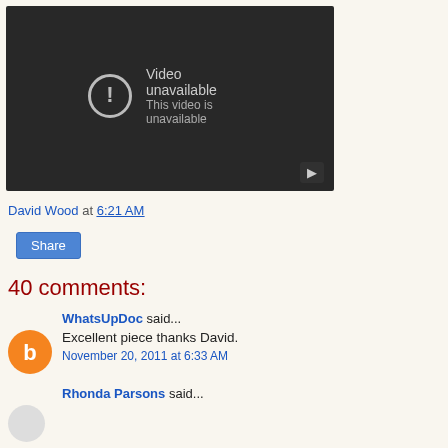[Figure (screenshot): YouTube video player showing 'Video unavailable - This video is unavailable' error message with a warning icon and YouTube logo button in the bottom right corner.]
David Wood at 6:21 AM
Share
40 comments:
WhatsUpDoc said...
Excellent piece thanks David.
November 20, 2011 at 6:33 AM
Rhonda Parsons said...